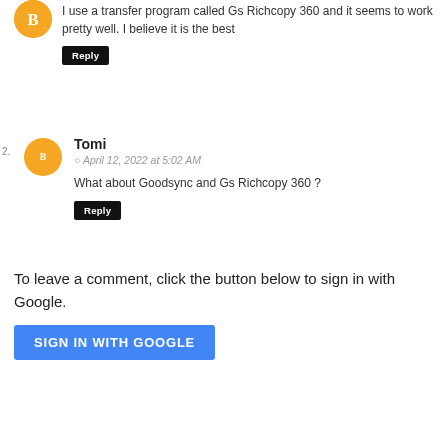I use a transfer program called Gs Richcopy 360 and it seems to work pretty well. I believe it is the best
Reply
Tomi
April 12, 2022 at 5:02 AM
What about Goodsync and Gs Richcopy 360 ?
Reply
To leave a comment, click the button below to sign in with Google.
SIGN IN WITH GOOGLE